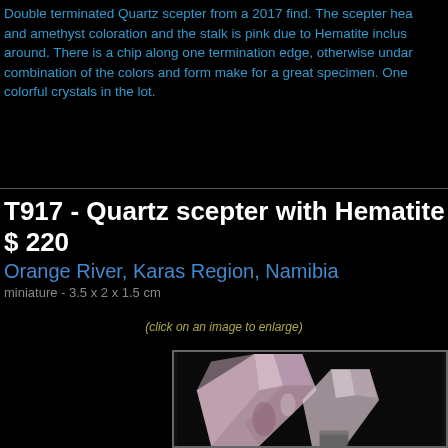Double terminated Quartz scepter from a 2017 find. The scepter hea and amethyst coloration and the stalk is pink due to Hematite inclus around. There is a chip along one termination edge, otherwise undar combination of the colors and form make for a great specimen. One colorful crystals in the lot.
T917 - Quartz scepter with Hematite $ 220
Orange River, Karas Region, Namibia
miniature - 3.5 x 2 x 1.5 cm
(click on an image to enlarge)
[Figure (photo): Close-up photograph of a double terminated quartz scepter crystal with pinkish-purple amethyst coloration on a black background.]